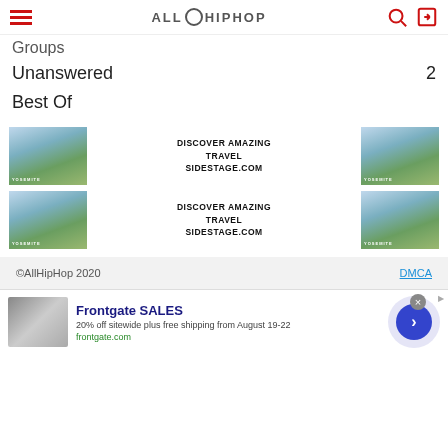AllHipHop
Groups
Unanswered  2
Best Of
[Figure (illustration): Two advertisement banners side by side for DISCOVER AMAZING TRAVEL SIDESTAGE.COM with Yosemite mountain background images]
[Figure (illustration): Two advertisement banners side by side for DISCOVER AMAZING TRAVEL SIDESTAGE.COM with Yosemite mountain background images (second row)]
©AllHipHop 2020   DMCA
[Figure (illustration): Frontgate SALES advertisement banner: 20% off sitewide plus free shipping from August 19-22. frontgate.com]